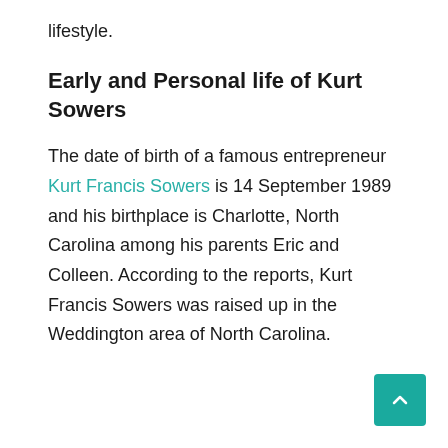lifestyle.
Early and Personal life of Kurt Sowers
The date of birth of a famous entrepreneur Kurt Francis Sowers is 14 September 1989 and his birthplace is Charlotte, North Carolina among his parents Eric and Colleen. According to the reports, Kurt Francis Sowers was raised up in the Weddington area of North Carolina.